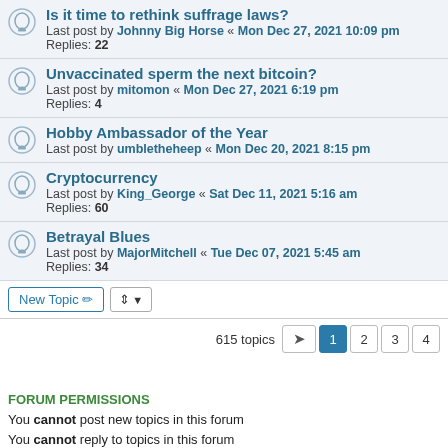Is it time to rethink suffrage laws? Last post by Johnny Big Horse « Mon Dec 27, 2021 10:09 pm Replies: 22
Unvaccinated sperm the next bitcoin? Last post by mitomon « Mon Dec 27, 2021 6:19 pm Replies: 4
Hobby Ambassador of the Year Last post by umbletheheep « Mon Dec 20, 2021 8:15 pm
Cryptocurrency Last post by King_George « Sat Dec 11, 2021 5:16 am Replies: 60
Betrayal Blues Last post by MajorMitchell « Tue Dec 07, 2021 5:45 am Replies: 34
615 topics  1  2  3  4
FORUM PERMISSIONS
You cannot post new topics in this forum
You cannot reply to topics in this forum